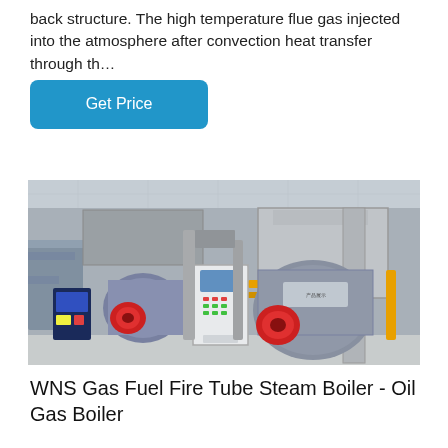back structure. The high temperature flue gas injected into the atmosphere after convection heat transfer through th…
[Figure (other): A blue rounded rectangle button labeled 'Get Price']
[Figure (photo): Industrial boiler room with WNS gas fuel fire tube steam boilers, red burners, control panels, yellow and silver piping, and ductwork in a factory/industrial setting.]
WNS Gas Fuel Fire Tube Steam Boiler - Oil Gas Boiler